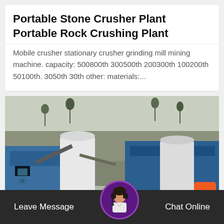Portable Stone Crusher Plant Portable Rock Crushing Plant
Mobile crusher stationary crusher grinding mill mining machine. capacity: 500800th 300500th 200300th 100200th 50100th. 3050th 30th other: materials:...
[Figure (photo): Industrial stone crusher / rock crushing plant facility with large white cylindrical silos, blue metal structures, conveyor equipment, set against a hillside backdrop of rock and sparse trees.]
Leave Message   Chat Online